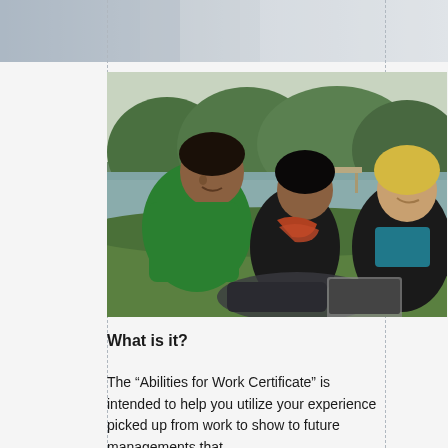[Figure (photo): Three students sitting on grass outdoors by a lake or pond, laughing and talking. A young man in a green t-shirt on the left, a young woman with dark hair and a scarf in the middle, and a blonde woman in a teal and black jacket on the right. Green trees and a wooden dock visible in the background.]
What is it?
The “Abilities for Work Certificate” is intended to help you utilize your experience picked up from work to show to future managements that